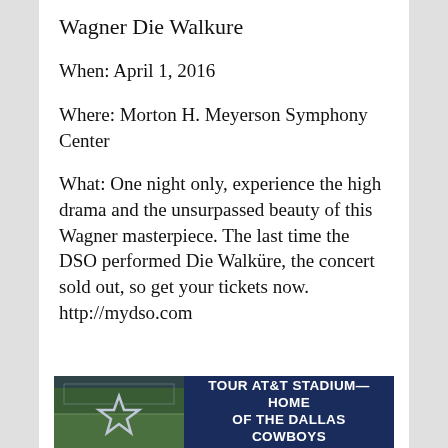Wagner Die Walkure
When: April 1, 2016
Where: Morton H. Meyerson Symphony Center
What: One night only, experience the high drama and the unsurpassed beauty of this Wagner masterpiece. The last time the DSO performed Die Walküre, the concert sold out, so get your tickets now. http://mydso.com
[Figure (photo): Advertisement banner: AT&T Stadium photo on the left, dark blue background with bold white text reading TOUR AT&T STADIUM—HOME OF THE DALLAS COWBOYS on the right]